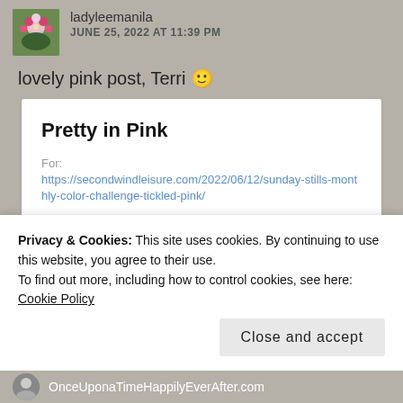[Figure (photo): Small avatar photo of ladyleemanila showing flowers]
ladyleemanila
JUNE 25, 2022 AT 11:39 PM
lovely pink post, Terri 🙂
Pretty in Pink
For:
https://secondwindleisure.com/2022/06/12/sunday-stills-monthly-color-challenge-tickled-pink/
Ladyleemanila  2
Privacy & Cookies: This site uses cookies. By continuing to use this website, you agree to their use.
To find out more, including how to control cookies, see here: Cookie Policy
Close and accept
OnceUponaTimeHappilyEverAfter.com